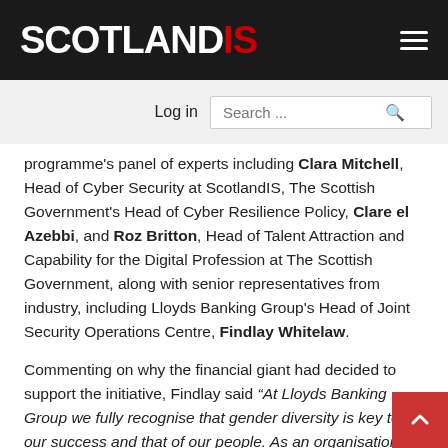SCOTLANDIS
programme's panel of experts including Clara Mitchell, Head of Cyber Security at ScotlandIS, The Scottish Government's Head of Cyber Resilience Policy, Clare el Azebbi, and Roz Britton, Head of Talent Attraction and Capability for the Digital Profession at The Scottish Government, along with senior representatives from industry, including Lloyds Banking Group's Head of Joint Security Operations Centre, Findlay Whitelaw.
Commenting on why the financial giant had decided to support the initiative, Findlay said “At Lloyds Banking Group we fully recognise that gender diversity is key to our success and that of our people. As an organisation we need to reflect the society we serve and that is why we are thrilled to be part of this initiative to encourage women to develop their careers in IT and Cyber Security